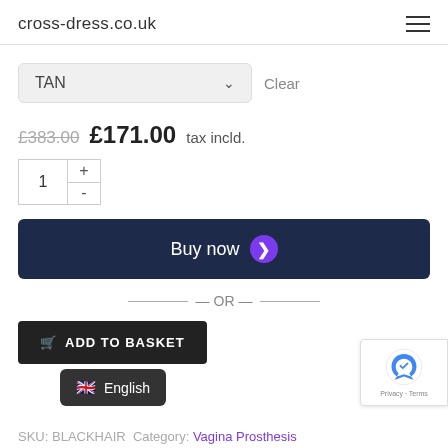cross-dress.co.uk
TAN (dropdown) Clear
£383.00 £171.00 tax incld.
Quantity: 1 + -
Buy now
— OR —
ADD TO BASKET
SKU: BLACKHAIR Category: Vagina Prosthesis
English
[Figure (screenshot): reCAPTCHA badge with Privacy - Terms text]